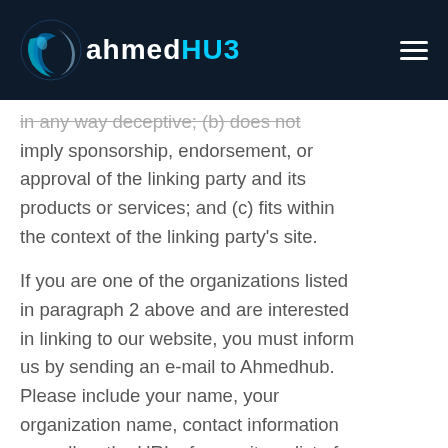AhmedHUB
in any way deceptive; (b) does not imply sponsorship, endorsement, or approval of the linking party and its products or services; and (c) fits within the context of the linking party's site.
If you are one of the organizations listed in paragraph 2 above and are interested in linking to our website, you must inform us by sending an e-mail to Ahmedhub. Please include your name, your organization name, contact information as well as the URL of your site, a list of any URLs from which you intend to link to our Website, and a list of the URLs on our site to which you would like to link. Wait